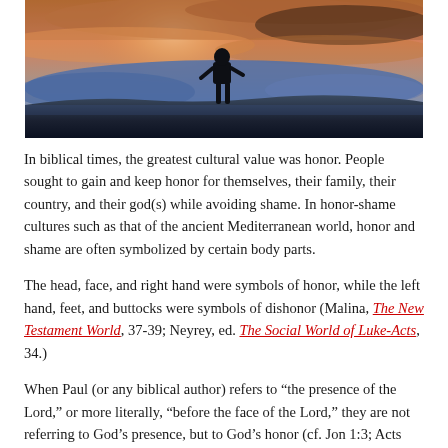[Figure (photo): Silhouette of a person standing on a hill or cliff against a dramatic sunset sky with orange, purple and blue clouds]
In biblical times, the greatest cultural value was honor. People sought to gain and keep honor for themselves, their family, their country, and their god(s) while avoiding shame. In honor-shame cultures such as that of the ancient Mediterranean world, honor and shame are often symbolized by certain body parts.
The head, face, and right hand were symbols of honor, while the left hand, feet, and buttocks were symbols of dishonor (Malina, The New Testament World, 37-39; Neyrey, ed. The Social World of Luke-Acts, 34.)
When Paul (or any biblical author) refers to “the presence of the Lord,” or more literally, “before the face of the Lord,” they are not referring to God’s presence, but to God’s honor (cf. Jon 1:3; Acts 3:19). See my podcast study on Jonah 1:3 for a detailed